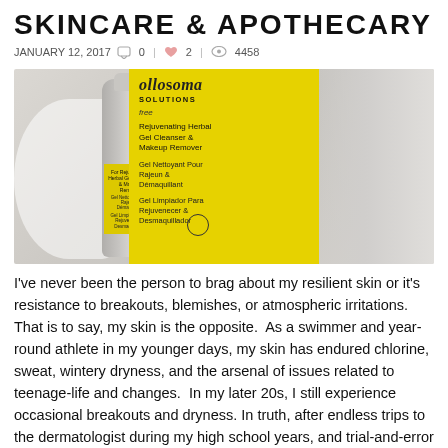SKINCARE & APOTHECARY
JANUARY 12, 2017   0  |  2  |  4458
[Figure (photo): Product photo of Oliosoma Solutions Rejuvenating Herbal Gel Cleanser & Makeup Remover — a grey aluminum bottle and yellow branded box on a light background]
I've never been the person to brag about my resilient skin or it's resistance to breakouts, blemishes, or atmospheric irritations.  That is to say, my skin is the opposite.  As a swimmer and year-round athlete in my younger days, my skin has endured chlorine, sweat, wintery dryness, and the arsenal of issues related to teenage-life and changes.  In my later 20s, I still experience occasional breakouts and dryness. In truth, after endless trips to the dermatologist during my high school years, and trial-and-error with drug store brands to no avail, I've discovered